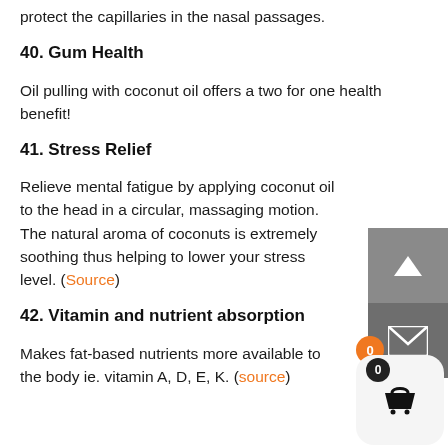protect the capillaries in the nasal passages.
40. Gum Health
Oil pulling with coconut oil offers a two for one health benefit!
41. Stress Relief
Relieve mental fatigue by applying coconut oil to the head in a circular, massaging motion. The natural aroma of coconuts is extremely soothing thus helping to lower your stress level. (Source)
42. Vitamin and nutrient absorption
Makes fat-based nutrients more available to the body ie. vitamin A, D, E, K. (source)